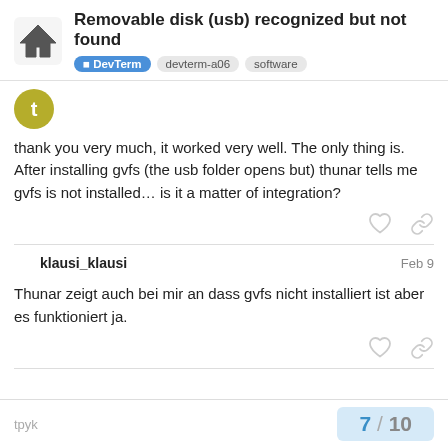Removable disk (usb) recognized but not found | DevTerm | devterm-a06 | software
thank you very much, it worked very well. The only thing is. After installing gvfs (the usb folder opens but) thunar tells me gvfs is not installed… is it a matter of integration?
klausi_klausi  Feb 9
Thunar zeigt auch bei mir an dass gvfs nicht installiert ist aber es funktioniert ja.
tpyk  7 / 10